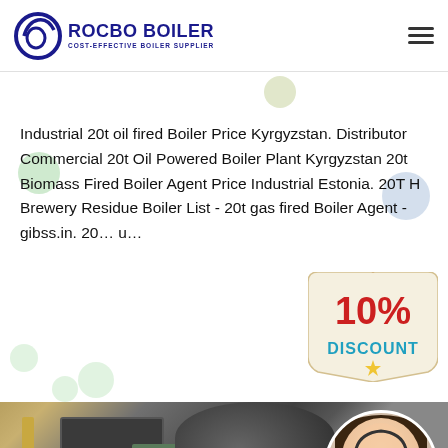[Figure (logo): Rocbo Boiler logo with tagline 'Cost-Effective Boiler Supplier']
Industrial 20t oil fired Boiler Price Kyrgyzstan. Distributor Commercial 20t Oil Powered Boiler Plant Kyrgyzstan 20t Biomass Fired Boiler Agent Price Industrial Estonia. 20T H Brewery Residue Boiler List - 20t gas fired Boiler Agent - gibss.in. 20… u…
[Figure (infographic): 10% DISCOUNT promotional badge/sign]
[Figure (photo): Industrial boiler equipment photo with customer service representative circle overlay]
[Figure (photo): Customer service representative wearing headset]